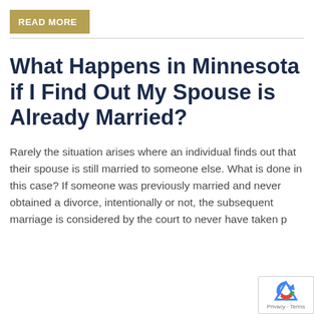READ MORE
What Happens in Minnesota if I Find Out My Spouse is Already Married?
Rarely the situation arises where an individual finds out that their spouse is still married to someone else. What is done in this case? If someone was previously married and never obtained a divorce, intentionally or not, the subsequent marriage is considered by the court to never have taken p